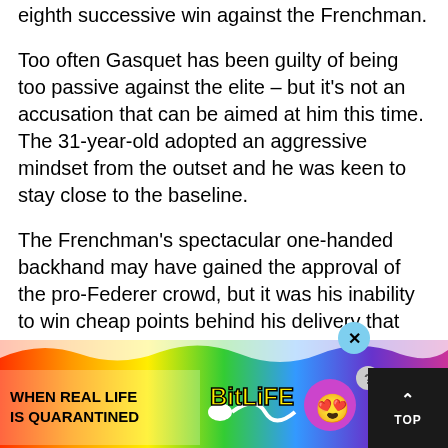eighth successive win against the Frenchman.
Too often Gasquet has been guilty of being too passive against the elite – but it's not an accusation that can be aimed at him this time. The 31-year-old adopted an aggressive mindset from the outset and he was keen to stay close to the baseline.
The Frenchman's spectacular one-handed backhand may have gained the approval of the pro-Federer crowd, but it was his inability to win cheap points behind his delivery that contributed to the end result.
[Figure (infographic): BitLife advertisement banner with rainbow gradient background, text 'WHEN REAL LIFE IS QUARANTINED' and BitLife logo with emoji graphics]